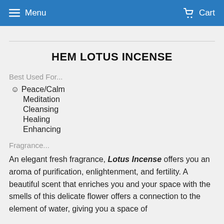Menu   Cart
HEM LOTUS INCENSE
Best Used For...
☺ Peace/Calm
Meditation
Cleansing
Healing
Enhancing
Fragrance...
An elegant fresh fragrance, Lotus Incense offers you an aroma of purification, enlightenment, and fertility. A beautiful scent that enriches you and your space with the smells of this delicate flower offers a connection to the element of water, giving you a space of